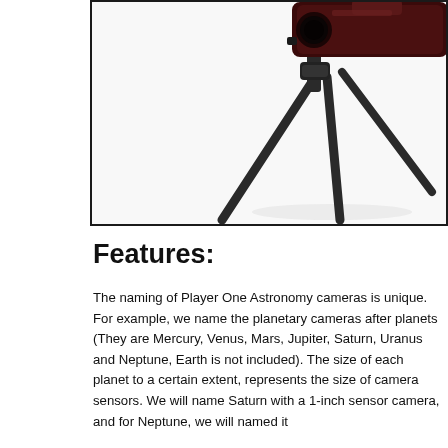[Figure (photo): A dark red/black camera or astronomy device mounted on a black tripod, photographed against a white background. Only the lower right portion of the camera body and the tripod legs are visible. The image is partially cropped.]
Features:
The naming of Player One Astronomy cameras is unique. For example, we name the planetary cameras after planets (They are Mercury, Venus, Mars, Jupiter, Saturn, Uranus and Neptune, Earth is not included). The size of each planet to a certain extent, represents the size of camera sensors. We will name Saturn with a 1-inch sensor camera, and for Neptune, we will named it with a 0.5-inch sensor camera. All cameras will be...